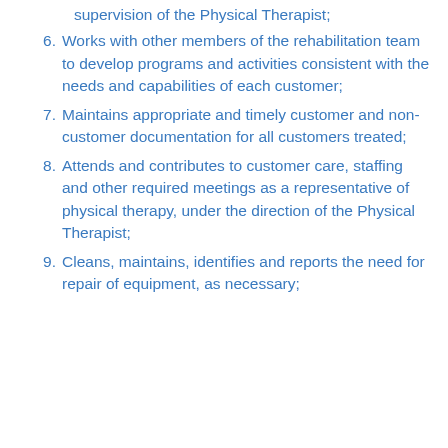supervision of the Physical Therapist;
6. Works with other members of the rehabilitation team to develop programs and activities consistent with the needs and capabilities of each customer;
7. Maintains appropriate and timely customer and non-customer documentation for all customers treated;
8. Attends and contributes to customer care, staffing and other required meetings as a representative of physical therapy, under the direction of the Physical Therapist;
9. Cleans, maintains, identifies and reports the need for repair of equipment, as necessary;